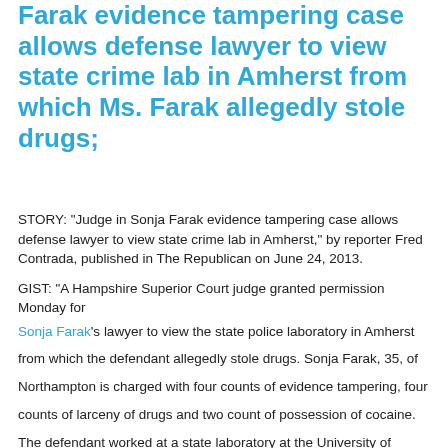Farak evidence tampering case allows defense lawyer to view state crime lab in Amherst from which Ms. Farak allegedly stole drugs;
STORY: "Judge in Sonja Farak evidence tampering case allows defense lawyer to view state crime lab in Amherst," by reporter Fred Contrada, published in The Republican on June 24, 2013.
GIST: "A Hampshire Superior Court judge granted permission Monday for Sonja Farak's lawyer to view the state police laboratory in Amherst from which the defendant allegedly stole drugs. Sonja Farak, 35, of Northampton is charged with four counts of evidence tampering, four counts of larceny of drugs and two count of possession of cocaine. The defendant worked at a state laboratory at the University of Massachusetts